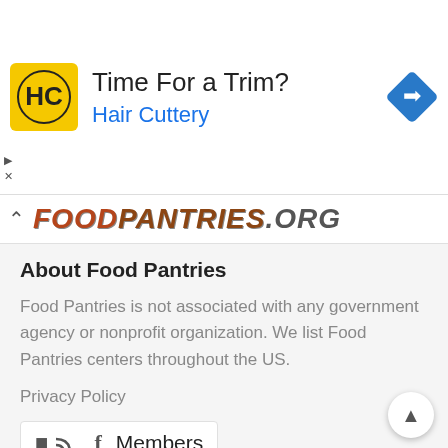[Figure (screenshot): Advertisement banner: Hair Cuttery ad with yellow HC logo, headline 'Time For a Trim?', subheading 'Hair Cuttery' in blue, and a blue navigation diamond icon on the right. Small dismiss arrows on the left.]
[Figure (logo): FoodPantries.org website logo showing partial text 'FOODPANTRIES.ORG' in stylized orange/red and gray letters]
About Food Pantries
Food Pantries is not associated with any government agency or nonprofit organization. We list Food Pantries centers throughout the US.
Privacy Policy
Members
Add a listing
Helpful sites
FreeFood.org
HSD Food Resources